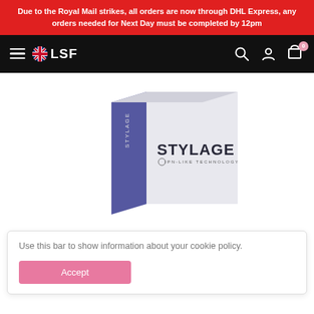Due to the Royal Mail strikes, all orders are now through DHL Express, any orders needed for Next Day must be completed by 12pm
[Figure (screenshot): Navigation bar with hamburger menu, UK flag and LSF logo, search icon, user icon, and cart icon with badge showing 0]
[Figure (photo): STYLAGE product box - white and purple/blue box with STYLAGE logo and IPN-LIKE TECHNOLOGY text]
Use this bar to show information about your cookie policy.
Accept